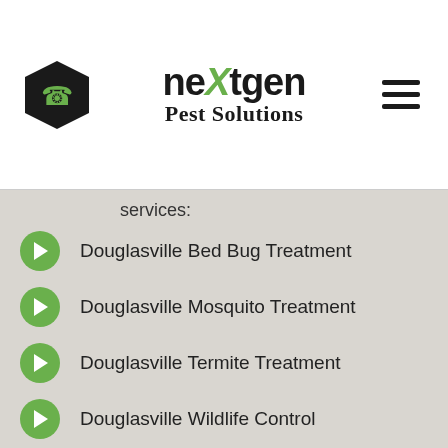[Figure (logo): NextGen Pest Solutions logo with hexagon phone icon on left, stylized text logo in center, and hamburger menu on right]
services:
Douglasville Bed Bug Treatment
Douglasville Mosquito Treatment
Douglasville Termite Treatment
Douglasville Wildlife Control